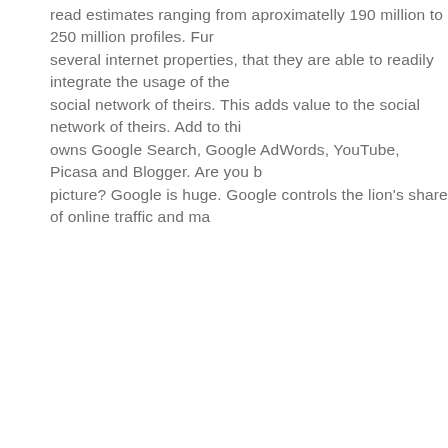read estimates ranging from aproximatelly 190 million to 250 million profiles. Fur... several internet properties, that they are able to readily integrate the usage of the... social network of theirs. This adds value to the social network of theirs. Add to thi... owns Google Search, Google AdWords, YouTube, Picasa and Blogger. Are you b... picture? Google is huge. Google controls the lion's share of online traffic and ma...